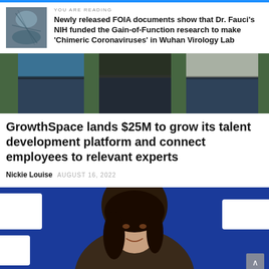YOU ARE READING
Newly released FOIA documents show that Dr. Fauci’s NIH funded the Gain-of-Function research to make ‘Chimeric Coronaviruses’ in Wuhan Virology Lab
[Figure (photo): Three people standing outdoors, partially cropped showing lower bodies, two in dark shirts and one in light shirt, in front of green foliage]
GrowthSpace lands $25M to grow its talent development platform and connect employees to relevant experts
Nickie Louise   AUGUST 16, 2022
[Figure (photo): Close-up photo of a man with dark medium-length hair against a blue background with partial white text visible]